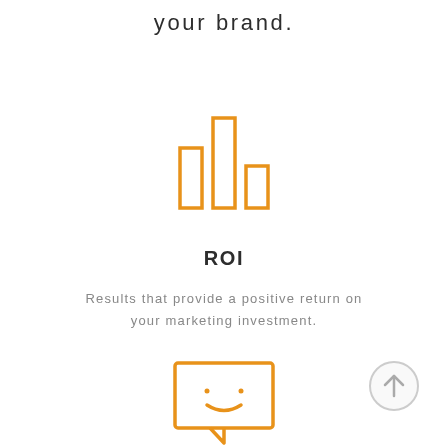your brand.
[Figure (illustration): Orange outlined bar chart icon with three bars of different heights]
ROI
Results that provide a positive return on your marketing investment.
[Figure (illustration): Orange outlined speech bubble with a smiley face icon]
[Figure (illustration): Gray circular back-to-top arrow button]